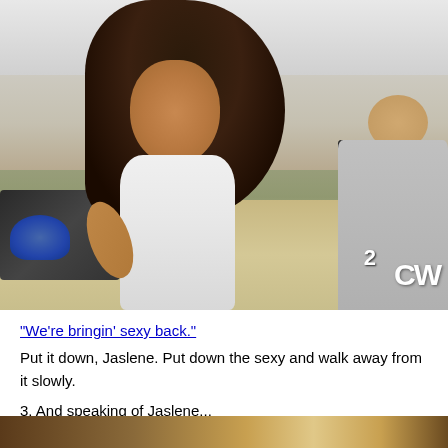[Figure (photo): A woman with dark flowing hair wearing a white halter top running or moving on a beach. In the background is another person wearing a grey shirt with the CW network logo visible. Beach/sandy environment with overcast sky.]
"We're bringin' sexy back."
Put it down, Jaslene. Put down the sexy and walk away from it slowly.
3. And speaking of Jaslene...